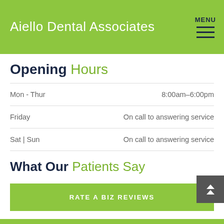Aiello Dental Associates  MENU
Opening Hours
| Day | Hours |
| --- | --- |
| Mon - Thur | 8:00am–6:00pm |
| Friday | On call to answering service |
| Sat | Sun | On call to answering service |
What Our Patients Say
RATE A BIZ REVIEWS